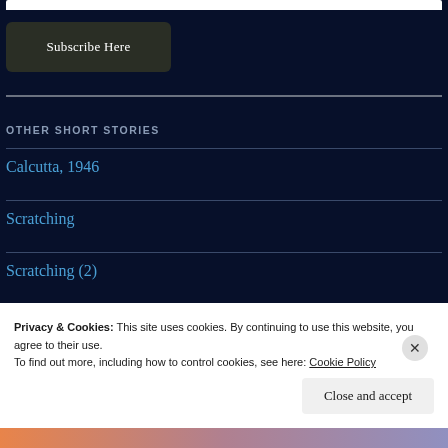Subscribe Here
OTHER SHORT STORIES
Calcutta, 1946
Scratching
Privacy & Cookies: This site uses cookies. By continuing to use this website, you agree to their use.
To find out more, including how to control cookies, see here: Cookie Policy
Close and accept